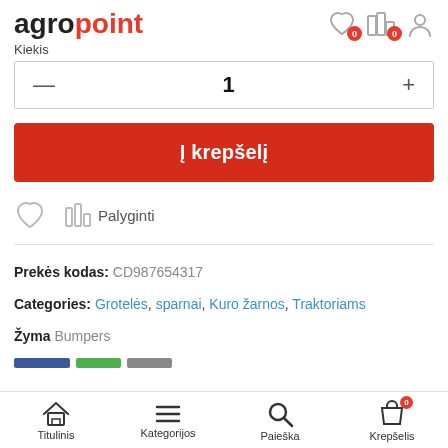agropoint
Kiekis
— 1 +
Į krepšelį
[Figure (other): Heart (wishlist) icon and bar chart (compare) icon with label Palyginti]
Prekės kodas: CD987654317
Categories: Grotelės, sparnai, Kuro žarnos, Traktoriams
Žyma Bumpers
[Figure (other): Social share buttons: blue, green, gray bars]
Titulinis  Kategorijos  Paieška  Krepšelis